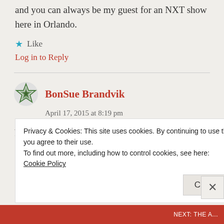and you can always be my guest for an NXT show here in Orlando.
★ Like
Log in to Reply
BonSue Brandvik
April 17, 2015 at 8:19 pm
You're an incredible writer. You should submit
Privacy & Cookies: This site uses cookies. By continuing to use this website, you agree to their use.
To find out more, including how to control cookies, see here:
Cookie Policy
Close and accept